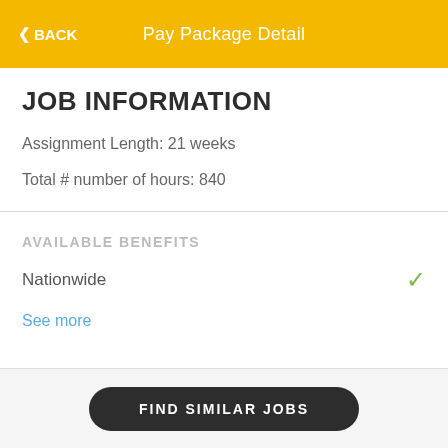◀ BACK   Pay Package Detail
JOB INFORMATION
Assignment Length: 21 weeks
Total # number of hours: 840
AVAILABLE BENEFITS
Nationwide ✓
See more
FIND SIMILAR JOBS